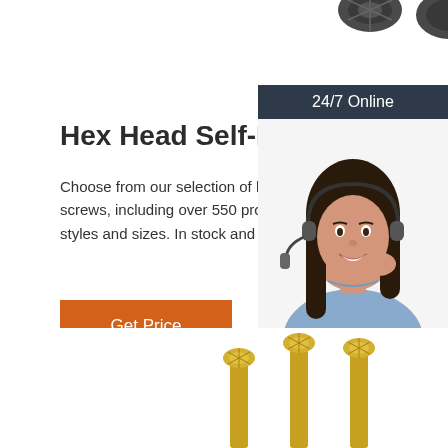[Figure (photo): Top portion showing dark-colored hex head self-drilling screws on white background]
Hex Head Self-Drilling Scr
Choose from our selection of hex head self-d screws, including over 550 products in a wid styles and sizes. In stock and ready to ship.
[Figure (photo): Customer service representative with headset — 24/7 Online chat widget with 'Click here for free chat!' and QUOTATION button]
Get Price
[Figure (photo): Bottom portion showing gold/brass colored hex head self-drilling screws on white background]